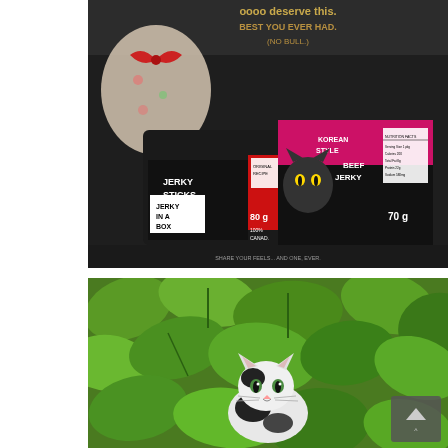[Figure (photo): A dark gift box open, containing two packages of Jerky In A Box products: 'Jerky Sticks Original Recipe' (80g, 100% Canadian beef) and 'Korean Style Jerky' (70g). A decorative stuffed animal with red ribbon is placed on top. The box lid text reads 'You soooo deserve this. Best you ever had. (No Bull.)']
[Figure (photo): A small black and white cat (or cat figurine/toy) partially hidden among bright green leafy plants/bushes, viewed from above.]